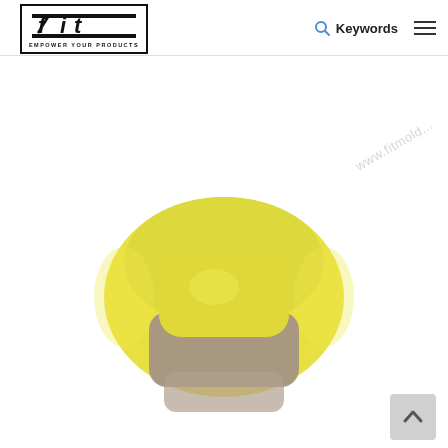[Figure (logo): FIT logo with tagline EMPOWER YOUR PRODUCTS in a black border box]
Keywords  ≡
[Figure (photo): Top-down view of a yellow toy car model against a white background. The car shows hood/roof detail with visible windshield opening. A watermark reading www.fitmold... is overlaid diagonally in the background. A gray scroll-to-top button is visible in the bottom right corner.]